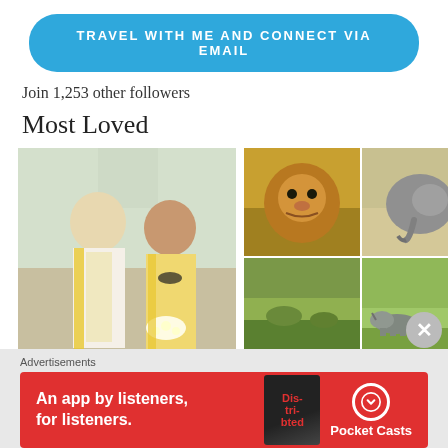[Figure (other): Blue rounded button with text TRAVEL WITH ME AND CONNECT VIA EMAIL]
Join 1,253 other followers
Most Loved
[Figure (photo): Collage of travel photos: couple in traditional Indian attire on left, wildlife photos (lion, elephant, rhinos, animals on savanna) on right]
Advertisements
[Figure (screenshot): Pocket Casts advertisement banner — red background with text 'An app by listeners, for listeners.' and Pocket Casts logo]